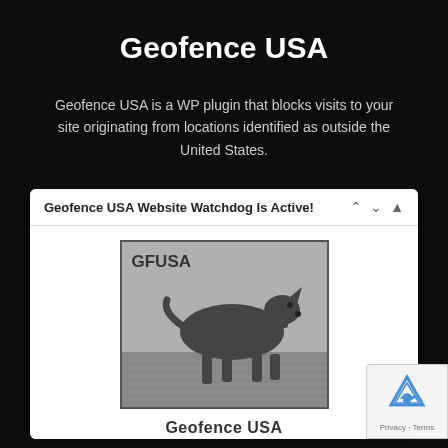Geofence USA
Geofence USA is a WP plugin that blocks visits to your site originating from locations identified as outside the United States.
[Figure (screenshot): WordPress plugin widget showing 'Geofence USA Website Watchdog Is Active!' header with collapse/expand controls, and a GFUSA logo featuring a dog silhouette on gray background]
Geofence USA